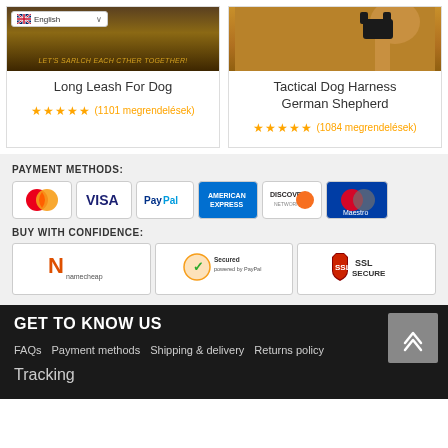[Figure (screenshot): Product card for Long Leash For Dog with forest background image and English language selector]
Long Leash For Dog
★★★★½ (1101 megrendelések)
[Figure (screenshot): Product card for Tactical Dog Harness German Shepherd with dog photo]
Tactical Dog Harness German Shepherd
★★★★½ (1084 megrendelések)
PAYMENT METHODS:
[Figure (infographic): Payment method icons: MasterCard, VISA, PayPal, American Express, Discover Network, Maestro]
BUY WITH CONFIDENCE:
[Figure (infographic): Trust badges: Namecheap, Secured by PayPal, SSL Secure]
GET TO KNOW US
FAQs
Payment methods
Shipping & delivery
Returns policy
Tracking